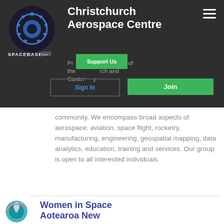[Figure (logo): Spacebase logo: circular gear/dot ring icon in blue and dark, with SPACEBASE beta text below]
Christchurch Aerospace Centre
Promoting the interests of the Christchurch and Canterbury aerospace community. We encompass broad aspects of aerospace: aviation, space flight, rocketry, manufacturing, engineering, geospatial mapping, data analytics, education, training and services. Our group is open to all interested individuals
[Figure (logo): Women in Space Aotearoa New Zealand logo: circular teal planet with rocket/figure illustration]